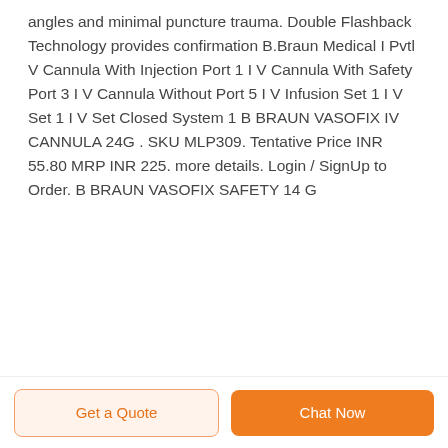angles and minimal puncture trauma. Double Flashback Technology provides confirmation B.Braun Medical I Pvtl V Cannula With Injection Port 1 I V Cannula With Safety Port 3 I V Cannula Without Port 5 I V Infusion Set 1 I V Set 1 I V Set Closed System 1 B BRAUN VASOFIX IV CANNULA 24G . SKU MLP309. Tentative Price INR 55.80 MRP INR 225. more details. Login / SignUp to Order. B BRAUN VASOFIX SAFETY 14 G
Get a Quote  Chat Now